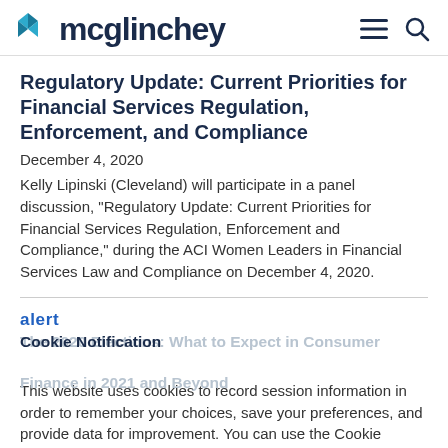mcglinchey
Regulatory Update: Current Priorities for Financial Services Regulation, Enforcement, and Compliance
December 4, 2020
Kelly Lipinski (Cleveland) will participate in a panel discussion, "Regulatory Update: Current Priorities for Financial Services Regulation, Enforcement and Compliance," during the ACI Women Leaders in Financial Services Law and Compliance on December 4, 2020.
alert
The 2020 Elections: What to Expect in Consumer Finance in 2021 and Beyond
Cookie Notification
This website uses cookies to record session information in order to remember your choices, save your preferences, and provide data for improvement. You can use the Cookie Settings Tool to change your cookie settings. Otherwise, by